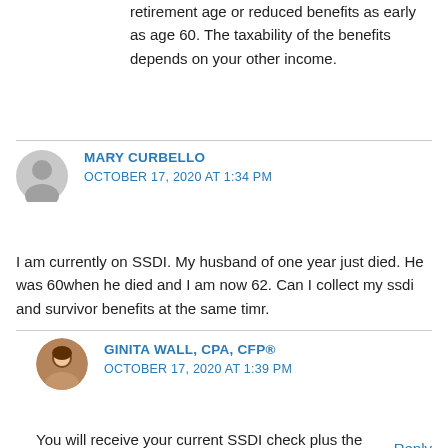retirement age or reduced benefits as early as age 60. The taxability of the benefits depends on your other income.
MARY CURBELLO
OCTOBER 17, 2020 AT 1:34 PM
I am currently on SSDI. My husband of one year just died. He was 60when he died and I am now 62. Can I collect my ssdi and survivor benefits at the same timr.
Reply
GINITA WALL, CPA, CFP®
OCTOBER 17, 2020 AT 1:39 PM
You will receive your current SSDI check plus the difference, if it's positive, between your survivor benefit and your own disability